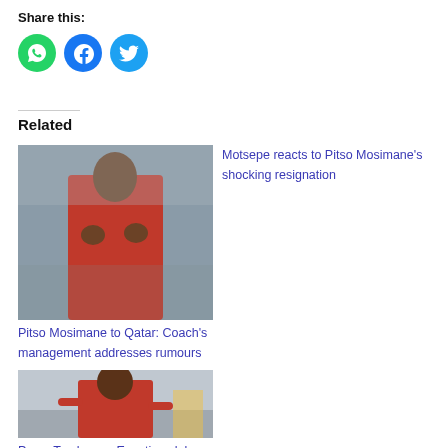Share this:
[Figure (illustration): Three social media share buttons: WhatsApp (green), Facebook (blue), Twitter (light blue)]
Related
[Figure (photo): Photo of Pitso Mosimane in a red Al Ahly jersey, clapping hands]
Pitso Mosimane to Qatar: Coach's management addresses rumours
Motsepe reacts to Pitso Mosimane's shocking resignation
[Figure (photo): Photo of Percy Tau in a red Al Ahly jersey, running and smiling]
Percy Tau leaves Egyptian club